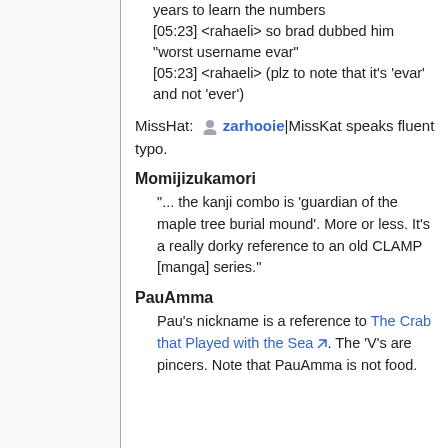years to learn the numbers
[05:23] <rahaeli> so brad dubbed him "worst username evar"
[05:23] <rahaeli> (plz to note that it's 'evar' and not 'ever')
MissHat: [icon] zarhooie|MissKat speaks fluent typo.
Momijizukamori
"... the kanji combo is 'guardian of the maple tree burial mound'. More or less. It's a really dorky reference to an old CLAMP [manga] series."
PauAmma
Pau's nickname is a reference to The Crab that Played with the Sea. The 'V's are pincers. Note that PauAmma is not food.